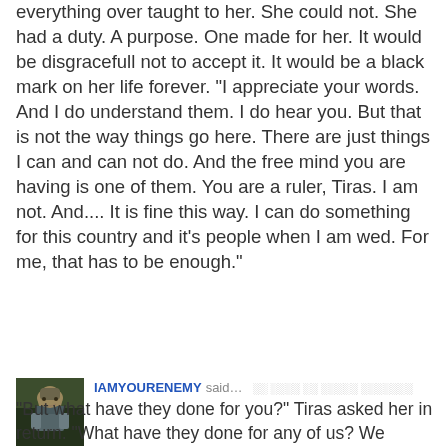everything over taught to her. She could not. She had a duty. A purpose. One made for her. It would be disgracefull not to accept it. It would be a black mark on her life forever. "I appreciate your words. And I do understand them. I do hear you. But that is not the way things go here. There are just things I can and can not do. And the free mind you are having is one of them. You are a ruler, Tiras. I am not. And.... It is fine this way. I can do something for this country and it's people when I am wed. For me, that has to be enough."
[Figure (photo): Avatar image of a fantasy warrior character with armor, dark background with green tones]
IAMYOURENEMY said… "But what have they done for you?" Tiras asked her in return. "What have they done for any of us? We sacrifice our personal lives, giving them safety and security because the sheep cannot lead themselves without a herder." He spoke out while holding out his hand, looking at her. "If it was fine this way, you'd have not gone out to speak to me. You linger here because you hope for something more,